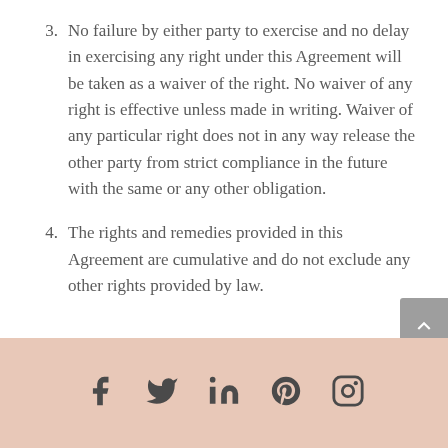3. No failure by either party to exercise and no delay in exercising any right under this Agreement will be taken as a waiver of the right. No waiver of any right is effective unless made in writing. Waiver of any particular right does not in any way release the other party from strict compliance in the future with the same or any other obligation.
4. The rights and remedies provided in this Agreement are cumulative and do not exclude any other rights provided by law.
Social media icons: Facebook, Twitter, LinkedIn, Pinterest, Instagram